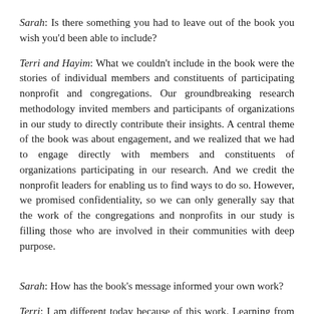Sarah: Is there something you had to leave out of the book you wish you'd been able to include?
Terri and Hayim: What we couldn't include in the book were the stories of individual members and constituents of participating nonprofit and congregations. Our groundbreaking research methodology invited members and participants of organizations in our study to directly contribute their insights. A central theme of the book was about engagement, and we realized that we had to engage directly with members and constituents of organizations participating in our research. And we credit the nonprofit leaders for enabling us to find ways to do so. However, we promised confidentiality, so we can only generally say that the work of the congregations and nonprofits in our study is filling those who are involved in their communities with deep purpose.
Sarah: How has the book's message informed your own work?
Terri: I am different today because of this work. Learning from and with the congregations and nonprofits we studied has convicted me to boldly lean into this new paradigm in my own leadership. One year later the path forward is not clear, but the rewards along the